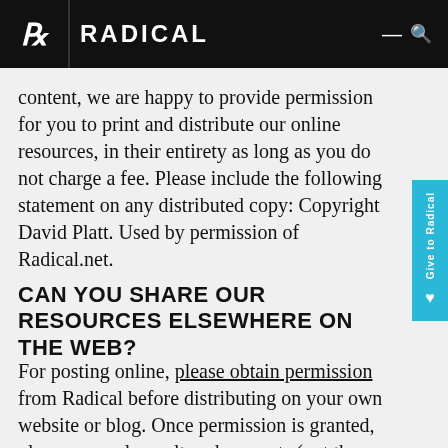RADICAL
content, we are happy to provide permission for you to print and distribute our online resources, in their entirety as long as you do not charge a fee. Please include the following statement on any distributed copy: Copyright David Platt. Used by permission of Radical.net.
CAN YOU SHARE OUR RESOURCES ELSEWHERE ON THE WEB?
For posting online, please obtain permission from Radical before distributing on your own website or blog. Once permission is granted, please use only unaltered excerpts (not the